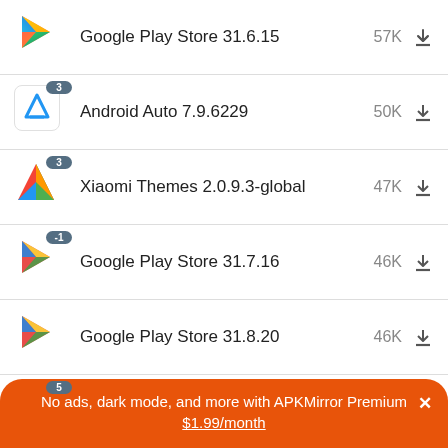Google Play Store 31.6.15 57K
Android Auto 7.9.6229 50K
Xiaomi Themes 2.0.9.3-global 47K
Google Play Store 31.7.16 46K
Google Play Store 31.8.20 46K
Xiaomi Security 7.0.9-220726.0.1 45K
No ads, dark mode, and more with APKMirror Premium × $1.99/month